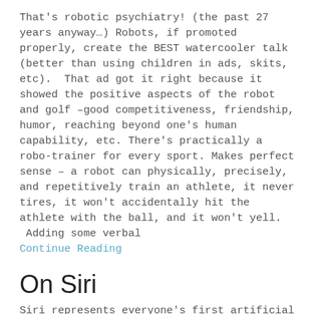That's robotic psychiatry! (the past 27 years anyway…) Robots, if promoted properly, create the BEST watercooler talk (better than using children in ads, skits, etc).  That ad got it right because it showed the positive aspects of the robot and golf –good competitiveness, friendship, humor, reaching beyond one's human capability, etc. There's practically a robo-trainer for every sport. Makes perfect sense – a robot can physically, precisely, and repetitively train an athlete, it never tires, it won't accidentally hit the athlete with the ball, and it won't yell.  Adding some verbal
Continue Reading
On Siri
Siri represents everyone's first artificial